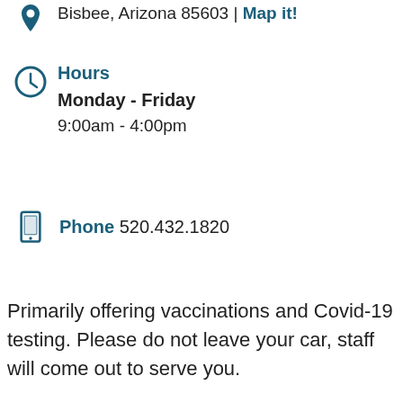Bisbee, Arizona 85603 | Map it!
Hours
Monday - Friday
9:00am - 4:00pm
Phone 520.432.1820
Primarily offering vaccinations and Covid-19 testing. Please do not leave your car, staff will come out to serve you.